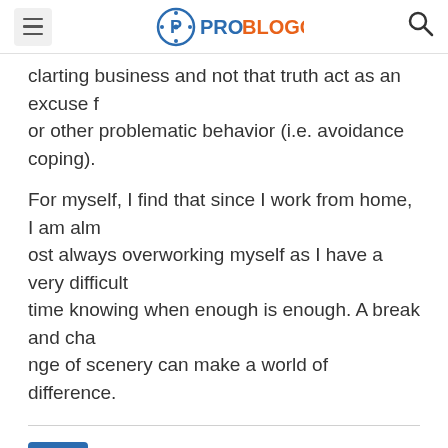ProBlogger
clarting business and not that truth act as an excuse for other problematic behavior (i.e. avoidance coping).
For myself, I find that since I work from home, I am almost always overworking myself as I have a very difficult time knowing when enough is enough. A break and change of scenery can make a world of difference.
PNR Status says: 03/06/2015 at 1:58 am
I think this all implement on myself. From last six months of so I could be able to write down anything, just bec